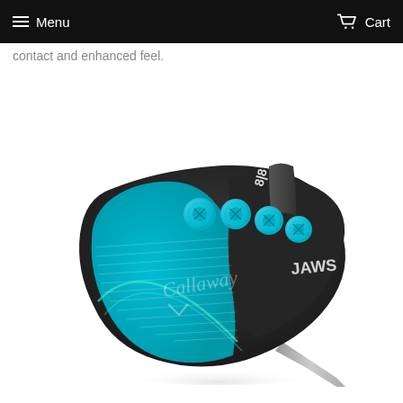Menu | Cart
contact and enhanced feel.
[Figure (photo): Callaway JAWS golf wedge with black finish and cyan/blue accents, featuring four cyan circular weights on the top, Callaway logo on the face, and JAWS branding on the toe. The club face shows a blue geometric design.]